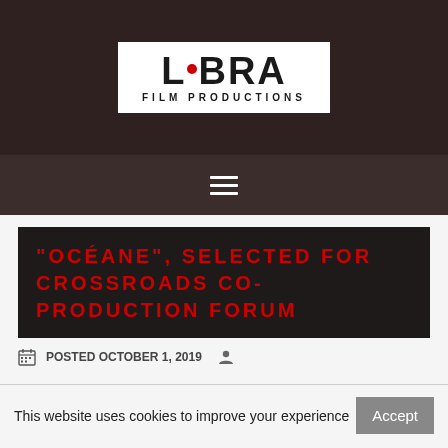[Figure (logo): Libra Film Productions logo — white box with LIBRA in bold black letters (red dot for the i), FILM PRODUCTIONS in small caps below, on dark brown background]
"OCÉANE", SELECTED FOR CROSSROADS CO-PRODUCTION FORUM
POSTED OCTOBER 1, 2019
This website uses cookies to improve your experience
Read More